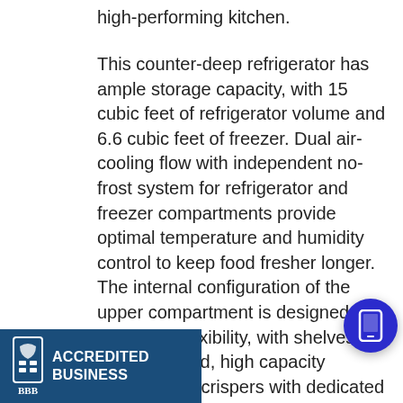high-performing kitchen.
This counter-deep refrigerator has ample storage capacity, with 15 cubic feet of refrigerator volume and 6.6 cubic feet of freezer. Dual air-cooling flow with independent no-frost system for refrigerator and freezer compartments provide optimal temperature and humidity control to keep food fresher longer. The internal configuration of the upper compartment is designed for maximum flexibility, with shelves that move and fold, high capacity drawers and crispers with dedicated temperature [controls and] gallon-size [door bins and] water dispen[ser providing] access to cr[ushed ice and] water. The main food & beverage preservation feature is embedded in the center drawer. [By sel]ecting 4 specific settings, th[e rang]e is ideal for either cold beverages, meats, fish, delicacies, or wine. The
[Figure (screenshot): Chat popup with avatar photo of a woman, close button, and text 'Hi there, have a question? Text us here.' with a mobile phone icon button in blue circle.]
[Figure (logo): Better Business Bureau (BBB) Accredited Business badge with white text on dark blue background.]